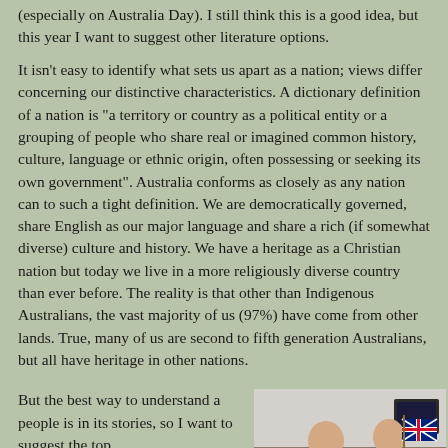(especially on Australia Day). I still think this is a good idea, but this year I want to suggest other literature options.
It isn't easy to identify what sets us apart as a nation; views differ concerning our distinctive characteristics. A dictionary definition of a nation is "a territory or country as a political entity or a grouping of people who share real or imagined common history, culture, language or ethnic origin, often possessing or seeking its own government". Australia conforms as closely as any nation can to such a tight definition. We are democratically governed, share English as our major language and share a rich (if somewhat diverse) culture and history. We have a heritage as a Christian nation but today we live in a more religiously diverse country than ever before. The reality is that other than Indigenous Australians, the vast majority of us (97%) have come from other lands. True, many of us are second to fifth generation Australians, but all have heritage in other nations.
But the best way to understand a people is in its stories, so I want to suggest the top...
[Figure (photo): Two children sitting indoors; one holds an Australian flag]